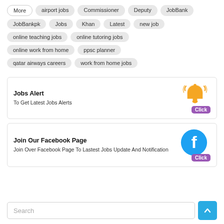More
airport jobs
Commissioner
Deputy
JobBank
JobBankpk
Jobs
Khan
Latest
new job
online teaching jobs
online tutoring jobs
online work from home
ppsc planner
qatar airways careers
work from home jobs
Jobs Alert
To Get Latest Jobs Alerts
[Figure (illustration): Orange notification bell with purple Click badge]
Join Our Facebook Page
Join Over Facebook Page To Lastest Jobs Update And Notification
[Figure (illustration): Blue Facebook circle icon with purple Click badge]
Search